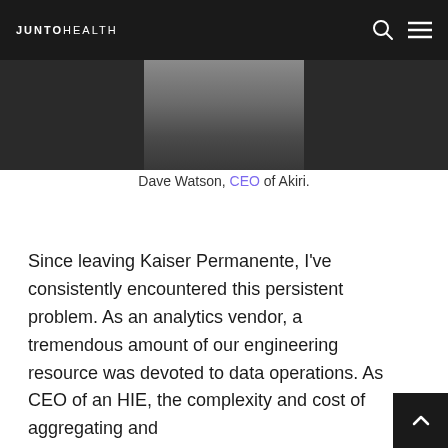JUNTO HEALTH
[Figure (photo): Partial photo of Dave Watson at the top of the page, partially cropped]
Dave Watson, CEO of Akiri.
Since leaving Kaiser Permanente, I've consistently encountered this persistent problem. As an analytics vendor, a tremendous amount of our engineering resource was devoted to data operations. As CEO of an HIE, the complexity and cost of aggregating and